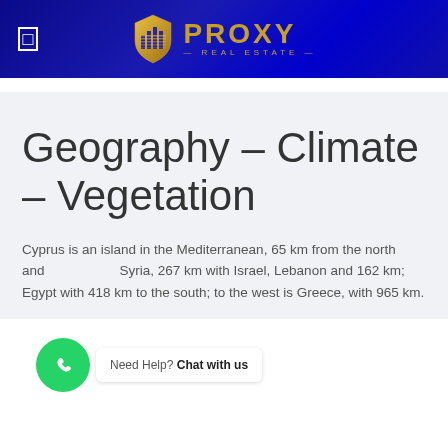[Figure (logo): Proxy Real Estate logo with golden shield icon and text on dark blue background header]
Geography – Climate – Vegetation
Cyprus is an island in the Mediterranean, 65 km from the north and Syria, 267 km with Israel, Lebanon and 162 km; Egypt with 418 km to the south; to the west is Greece, with 965 km.